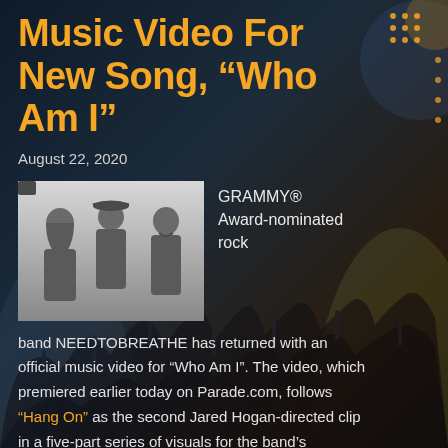Music Video For New Song, “Who Am I”
August 22, 2020
[Figure (photo): Black and white photo of three band members of NEEDTOBREATHE standing side by side]
GRAMMY® Award-nominated rock
band NEEDTOBREATHE has returned with an official music video for “Who Am I”. The video, which premiered earlier today on Parade.com, follows “Hang On” as the second Jared Hogan-directed clip in a five-part series of visuals for the band’s forthcoming album Out of Body. Watch it now HERE.